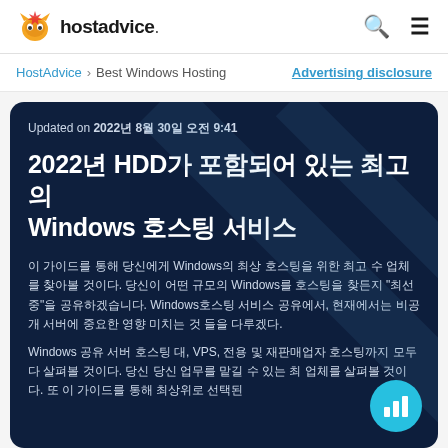hostadvice.
HostAdvice > Best Windows Hosting   Advertising disclosure
Updated on 2022년 8월 30일 오전 9:41
2022년 HDD가 포함되어 있는 최고의 Windows 호스팅 서비스
이 가이드를 통해 당신에게 Windows의 최상 호스팅을 위한 최고 수 업체를 찾아볼 것이다. 당신이 어떤 규모의 Windows를 호스팅을 찾든지 "최선 중"을 공유하겠습니다. Windows호스팅 서비스 공유에서, 현재에서는 비공개 서버에 중요한 영향 미치는 것 들을 다루겠다. Windows 공유 서버 호스팅 대, VPS,전용 및 재판매업자 호스팅까지 모두 다 살펴볼 것이다. 당신 당신 업무를 맡길 수 있는 최 업체를 살펴볼 것이다. 또 이 가이드를 통해 최상위로 선택된